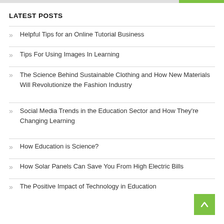LATEST POSTS
Helpful Tips for an Online Tutorial Business
Tips For Using Images In Learning
The Science Behind Sustainable Clothing and How New Materials Will Revolutionize the Fashion Industry
Social Media Trends in the Education Sector and How They're Changing Learning
How Education is Science?
How Solar Panels Can Save You From High Electric Bills
The Positive Impact of Technology in Education